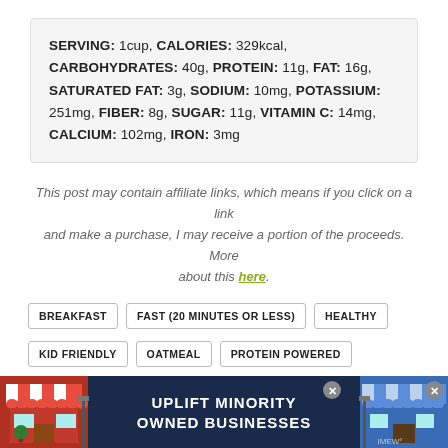SERVING: 1cup, CALORIES: 329kcal, CARBOHYDRATES: 40g, PROTEIN: 11g, FAT: 16g, SATURATED FAT: 3g, SODIUM: 10mg, POTASSIUM: 251mg, FIBER: 8g, SUGAR: 11g, VITAMIN C: 14mg, CALCIUM: 102mg, IRON: 3mg
This post may contain affiliate links, which means if you click on a link and make a purchase, I may receive a portion of the proceeds. More about this here.
BREAKFAST
FAST (20 MINUTES OR LESS)
HEALTHY
KID FRIENDLY
OATMEAL
PROTEIN POWERED
[Figure (infographic): Advertisement banner: UPLIFT MINORITY OWNED BUSINESSES with store illustrations on left and right sides and close buttons]